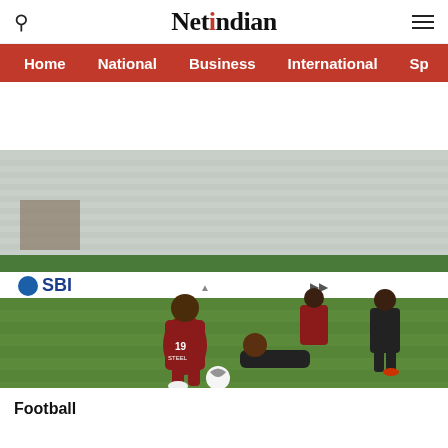NetIndian — search and menu navigation header
Home | National | Business | International | Sp
[Figure (photo): Football match photo showing players in action on a grass pitch. One player in red and black kit (number 19) challenges opponents in dark kit. SBI logo visible on advertising hoarding in background. Empty stadium stands visible.]
Football